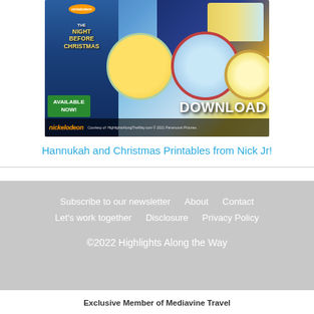[Figure (illustration): Nickelodeon promotional image showing PAW Patrol The Night Before Christmas DVD box, Blue's Clues and Baby Shark holiday characters with 'AVAILABLE NOW!' banner and 'DOWNLOAD' text, Nickelodeon logo and courtesy of HighlightsAlongTheWay.com © 2021 Paramount Pictures]
Hannukah and Christmas Printables from Nick Jr!
Subscribe to our newsletter   About   Contact
Let's work together   Disclosure   Privacy Policy

©2022 Highlights Along the Way

Exclusive Member of Mediavine Travel